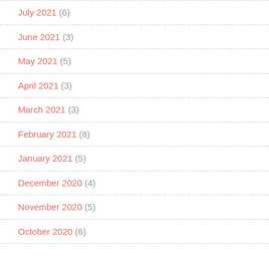July 2021 (6)
June 2021 (3)
May 2021 (5)
April 2021 (3)
March 2021 (3)
February 2021 (8)
January 2021 (5)
December 2020 (4)
November 2020 (5)
October 2020 (6)